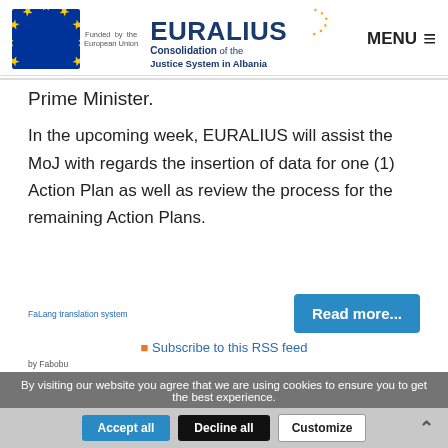[Figure (logo): EU flag logo with stars on blue background and EURALIUS brand: Consolidation of the Justice System in Albania]
Prime Minister.
In the upcoming week, EURALIUS will assist the MoJ with regards the insertion of data for one (1) Action Plan as well as review the process for the remaining Action Plans.
FaLang translation system
Subscribe to this RSS feed
by Fabobu
By visiting our website you agree that we are using cookies to ensure you to get the best experience.
Accept all
Decline all
Customize
ARCHIVE